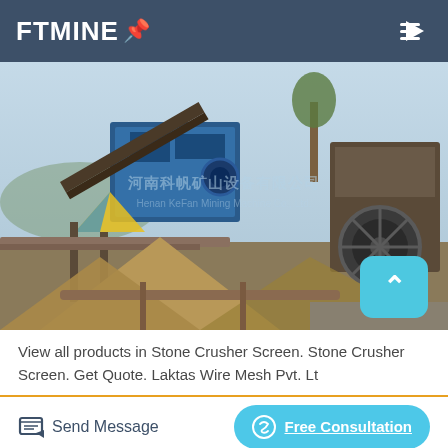FTMINE
[Figure (photo): Outdoor mining/crushing plant site showing blue industrial machinery, conveyor belts, sand piles, and a wheel mechanism. Chinese company watermark visible: 河南科帆矿山设备有限公司 / Henan KeFan Mining Machine Co., Ltd.]
View all products in Stone Crusher Screen. Stone Crusher Screen. Get Quote. Laktas Wire Mesh Pvt. Lt
Send Message
Free Consultation